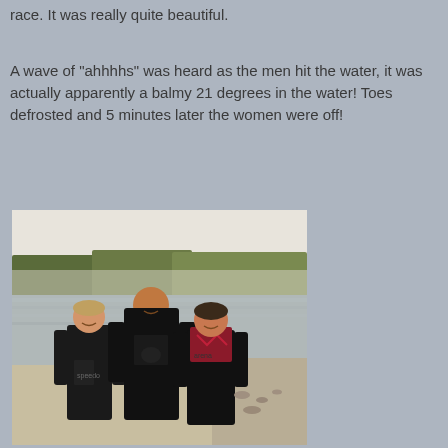race. It was really quite beautiful.
A wave of "ahhhhs" was heard as the men hit the water, it was actually apparently a balmy 21 degrees in the water! Toes defrosted and 5 minutes later the women were off!
[Figure (photo): Three people in wetsuits/swimwear standing near a lake with trees and misty water in the background.]